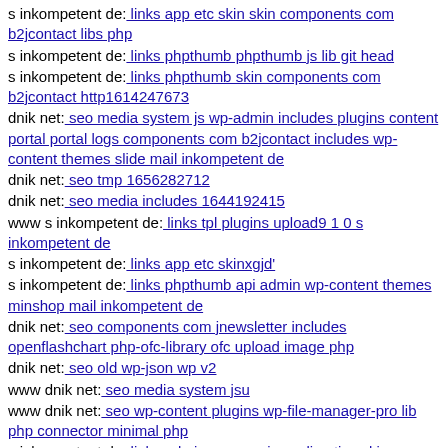s inkompetent de: links app etc skin skin components com b2jcontact libs php
s inkompetent de: links phpthumb phpthumb js lib git head
s inkompetent de: links phpthumb skin components com b2jcontact http1614247673
dnik net: seo media system js wp-admin includes plugins content portal portal logs components com b2jcontact includes wp-content themes slide mail inkompetent de
dnik net: seo tmp 1656282712
dnik net: seo media includes 1644192415
www s inkompetent de: links tpl plugins upload9 1 0 s inkompetent de
s inkompetent de: links app etc skinxgjd'
s inkompetent de: links phpthumb api admin wp-content themes minshop mail inkompetent de
dnik net: seo components com jnewsletter includes openflashchart php-ofc-library ofc upload image php
dnik net: seo old wp-json wp v2
www dnik net: seo media system jsu
www dnik net: seo wp-content plugins wp-file-manager-pro lib php connector minimal php
s inkompetent de: links admin cms wysiwyg directive skin app
www mail inkompetent de: links wp-content themes stendhal theme templates sliders revolution-slider temp update extract revslider dnik net